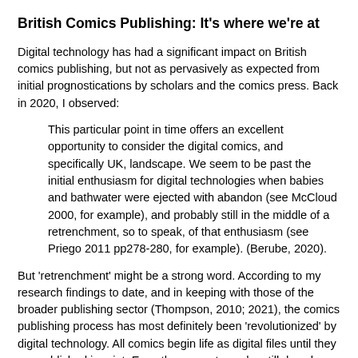British Comics Publishing: It's where we're at
Digital technology has had a significant impact on British comics publishing, but not as pervasively as expected from initial prognostications by scholars and the comics press. Back in 2020, I observed:
This particular point in time offers an excellent opportunity to consider the digital comics, and specifically UK, landscape. We seem to be past the initial enthusiasm for digital technologies when babies and bathwater were ejected with abandon (see McCloud 2000, for example), and probably still in the middle of a retrenchment, so to speak, of that enthusiasm (see Priego 2011 pp278-280, for example). (Berube, 2020).
But 'retrenchment' might be a strong word. According to my research findings to date, and in keeping with those of the broader publishing sector (Thompson, 2010; 2021), the comics publishing process has most definitely been 'revolutionized' by digital technology. All comics begin life as digital files until they are published in print. Even those creators who still draw by hand must convert their work to digital versions that can be sent to a publisher or uploaded to a website or